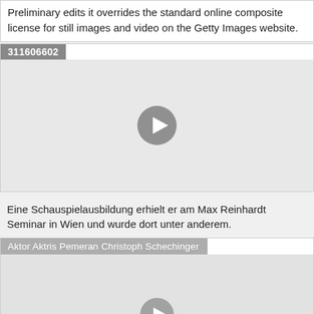Preliminary edits it overrides the standard online composite license for still images and video on the Getty Images website.
[Figure (screenshot): Video thumbnail placeholder with ID 311606602 and a play button circle in the center on a light gray background.]
Eine Schauspielausbildung erhielt er am Max Reinhardt Seminar in Wien und wurde dort unter anderem.
[Figure (screenshot): Video thumbnail placeholder labeled 'Aktor Aktris Pemeran Christoph Schechinger' with a play button partially visible at the bottom.]